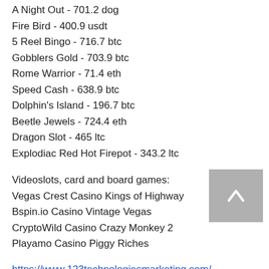A Night Out - 701.2 dog
Fire Bird - 400.9 usdt
5 Reel Bingo - 716.7 btc
Gobblers Gold - 703.9 btc
Rome Warrior - 71.4 eth
Speed Cash - 638.9 btc
Dolphin's Island - 196.7 btc
Beetle Jewels - 724.4 eth
Dragon Slot - 465 ltc
Explodiac Red Hot Firepot - 343.2 ltc
Videoslots, card and board games:
Vegas Crest Casino Kings of Highway
Bspin.io Casino Vintage Vegas
CryptoWild Casino Crazy Monkey 2
Playamo Casino Piggy Riches
https://www.123technologiesmarketing.com/profile/emersonchanel14744864/profile
https://www.theroadsidescholar.com/profile/a